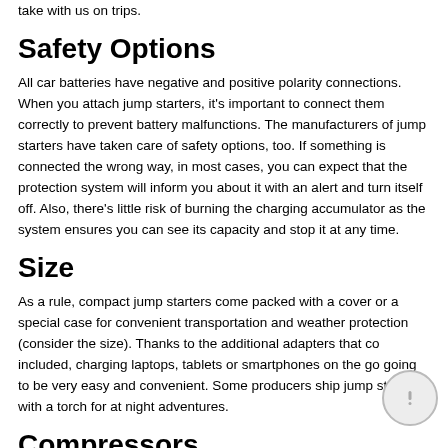who often travel and/or go hiking and camping and need to charge their gadgets on the go. The 12V output is considered the optimal number, providing enough juice for most of the devices we usually take with us on trips.
Safety Options
All car batteries have negative and positive polarity connections. When you attach jump starters, it's important to connect them correctly to prevent battery malfunctions. The manufacturers of jump starters have taken care of safety options, too. If something is connected the wrong way, in most cases, you can expect that the protection system will inform you about it with an alert and turn itself off. Also, there's little risk of burning the charging accumulator as the system ensures you can see its capacity and stop it at any time.
Size
As a rule, compact jump starters come packed with a cover or a special case for convenient transportation and weather protection (consider the size). Thanks to the additional adapters that co included, charging laptops, tablets or smartphones on the go going to be very easy and convenient. Some producers ship jump starters with a torch for at night adventures.
Compressors